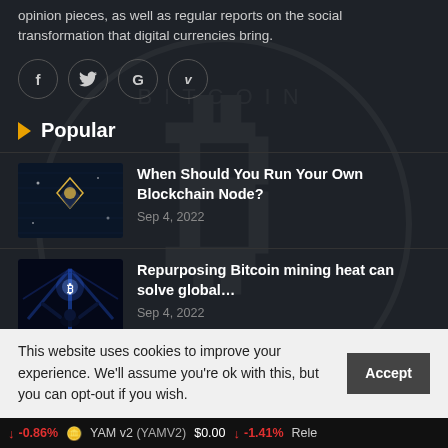opinion pieces, as well as regular reports on the social transformation that digital currencies bring.
[Figure (other): Social media icons: Facebook (f), Twitter (bird), Google (G), Vimeo (V) in circular borders]
▲ Popular
When Should You Run Your Own Blockchain Node? — Sep 4, 2022
Repurposing Bitcoin mining heat can solve global… — Sep 4, 2022
The Bitcoin bottom — Are we there yet? Analysts…
This website uses cookies to improve your experience. We'll assume you're ok with this, but you can opt-out if you wish.
↓ -0.86%   YAM v2 (YAMV2) $0.00 ↓ -1.41%   Rele